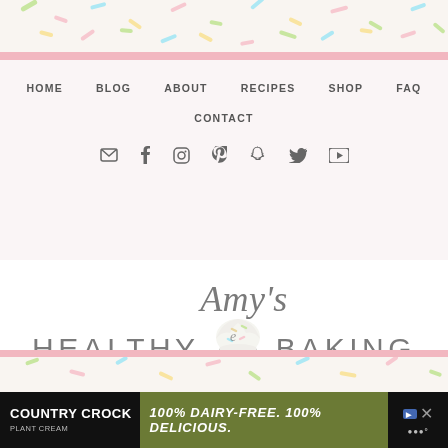[Figure (screenshot): Sprinkle-decorated header background with colorful confetti sprinkles on white/cream background and pink horizontal bar]
HOME  BLOG  ABOUT  RECIPES  SHOP  FAQ  CONTACT
[Figure (logo): Amy's Healthy Baking logo — cursive 'Amy's' script above large cupcake icon flanked by 'HEALTHY' and 'BAKING' in spaced uppercase letters]
[Figure (screenshot): Bottom sprinkle strip and pink bar like the header]
[Figure (screenshot): Country Crock Plant Cream advertisement banner: '100% DAIRY-FREE. 100% DELICIOUS.' on dark olive green background with black sides]